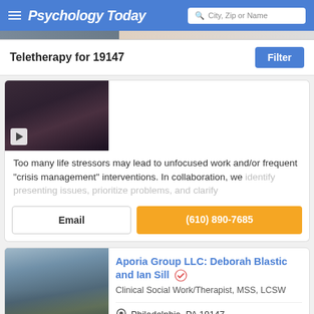Psychology Today — City, Zip or Name search
Teletherapy for 19147
[Figure (photo): Partial photo of a therapist, partially cropped, with a play button overlay]
Too many life stressors may lead to unfocused work and/or frequent "crisis management" interventions. In collaboration, we identify presenting issues, prioritize problems, and clarify
Email
(610) 890-7685
Aporia Group LLC: Deborah Blastic and Ian Sill
Clinical Social Work/Therapist, MSS, LCSW
Philadelphia, PA 19147
Offers online therapy